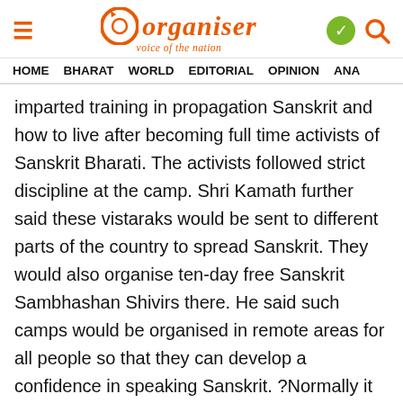Organiser — voice of the nation
HOME  BHARAT  WORLD  EDITORIAL  OPINION  ANA
imparted training in propagation Sanskrit and how to live after becoming full time activists of Sanskrit Bharati. The activists followed strict discipline at the camp. Shri Kamath further said these vistaraks would be sent to different parts of the country to spread Sanskrit. They would also organise ten-day free Sanskrit Sambhashan Shivirs there. He said such camps would be organised in remote areas for all people so that they can develop a confidence in speaking Sanskrit. ?Normally it is believed that Sanskrit is a tough language. But the Sanskrit Bharati has belied this myth through its Sambhashan Shivirs organised across the country.